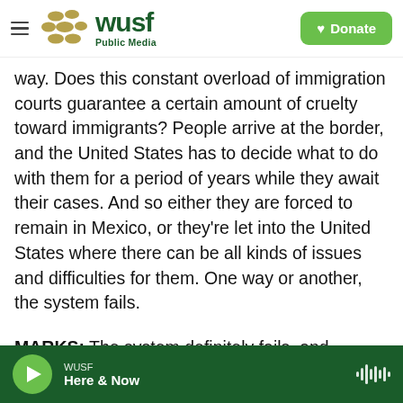WUSF Public Media — Donate
way. Does this constant overload of immigration courts guarantee a certain amount of cruelty toward immigrants? People arrive at the border, and the United States has to decide what to do with them for a period of years while they await their cases. And so either they are forced to remain in Mexico, or they're let into the United States where there can be all kinds of issues and difficulties for them. One way or another, the system fails.
MARKS: The system definitely fails, and leaving people in limbo is very stressful for everyone concerned. It's not productive to the system
WUSF — Here & Now